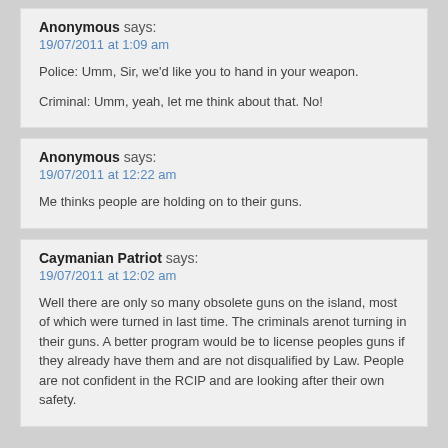Anonymous says:
19/07/2011 at 1:09 am

Police:  Umm, Sir, we'd like you to hand in your weapon.

Criminal:  Umm, yeah, let me think about that.  No!
Anonymous says:
19/07/2011 at 12:22 am

Me thinks people are holding on to their guns.
Caymanian Patriot says:
19/07/2011 at 12:02 am

Well there are only so many obsolete guns on the island, most of which were turned in last time. The criminals arenot turning in their guns. A better program would be to license peoples guns if they already have them and are not disqualified by Law. People are not confident in the RCIP and are looking after their own safety.